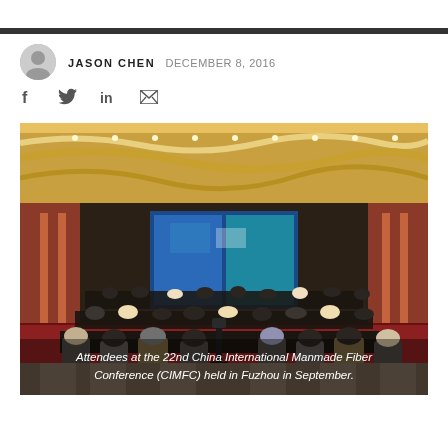JASON CHEN  DECEMBER 8, 2016
[Figure (photo): Conference hall photo showing attendees seated at the 22nd China International Manmade Fiber Conference (CIMFC) held in Fuzhou in September, with a large blue projection screen at the front.]
Attendees at the 22nd China International Manmade Fiber Conference (CIMFC) held in Fuzhou in September.